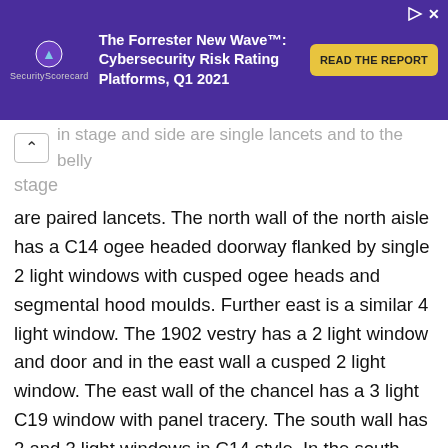[Figure (other): Advertisement banner for SecurityScorecard: 'The Forrester New Wave™: Cybersecurity Risk Rating Platforms, Q1 2021' with a 'READ THE REPORT' call-to-action button on a purple background.]
in stage and side are single lancets and to the belly stage
are paired lancets. The north wall of the north aisle has a C14 ogee headed doorway flanked by single 2 light windows with cusped ogee heads and segmental hood moulds. Further east is a similar 4 light window. The 1902 vestry has a 2 light window and door and in the east wall a cusped 2 light window. The east wall of the chancel has a 3 light C19 window with panel tracery. The south wall has 2 and 3 light windows in C14 style. In the south aisle are 2 three light C14 windows with flat heads and a further similar window west of the porch. The clerestorey on both sides has 3 C19 paired lights under flat hood moulds. The south porch